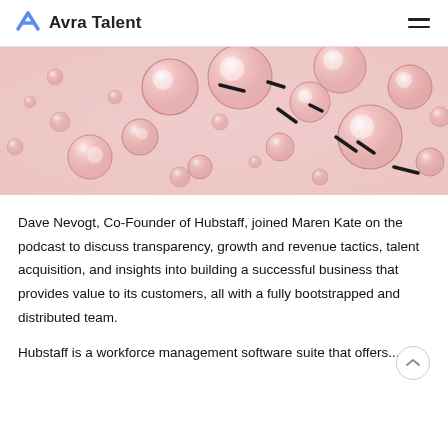Avra Talent
[Figure (photo): Close-up microscope or macro photograph of pink/rose-colored liquid with numerous spherical bubbles and droplets of various sizes on a light pink background, with small black dashes scattered throughout.]
Dave Nevogt, Co-Founder of Hubstaff, joined Maren Kate on the podcast to discuss transparency, growth and revenue tactics, talent acquisition, and insights into building a successful business that provides value to its customers, all with a fully bootstrapped and distributed team.
Hubstaff is a workforce management software suite that offers...